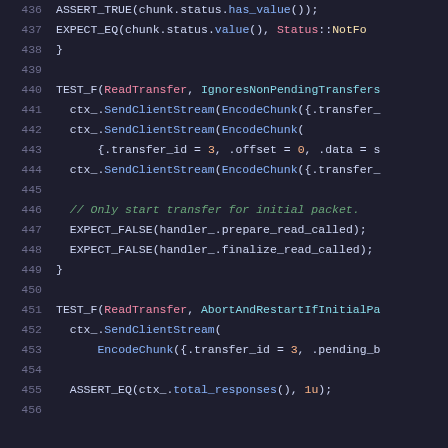Code listing lines 436-456 showing C++ test functions for ReadTransfer with syntax highlighting
436     ASSERT_TRUE(chunk.status.has_value());
437     EXPECT_EQ(chunk.status.value(), Status::NotFo
438   }
439
440   TEST_F(ReadTransfer, IgnoresNonPendingTransfers
441     ctx_.SendClientStream(EncodeChunk({.transfer_
442     ctx_.SendClientStream(EncodeChunk(
443         {.transfer_id = 3, .offset = 0, .data = s
444     ctx_.SendClientStream(EncodeChunk({.transfer_
445
446     // Only start transfer for initial packet.
447     EXPECT_FALSE(handler_.prepare_read_called);
448     EXPECT_FALSE(handler_.finalize_read_called);
449   }
450
451   TEST_F(ReadTransfer, AbortAndRestartIfInitialPa
452     ctx_.SendClientStream(
453         EncodeChunk({.transfer_id = 3, .pending_b
454
455     ASSERT_EQ(ctx_.total_responses(), 1u);
456